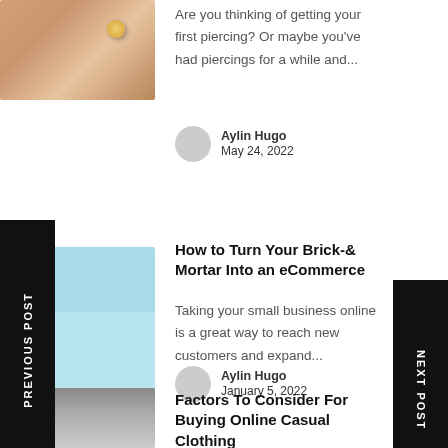[Figure (photo): Close-up photo of a human ear with a gold piercing/earring]
Are you thinking of getting your first piercing? Or maybe you've had piercings for a while and...
Aylin Hugo
May 24, 2022
[Figure (illustration): Illustration of a brick-and-mortar store front with an awning, transitioning to an eCommerce/mobile interface]
How to Turn Your Brick-& Mortar Into an eCommerce
Taking your small business online is a great way to reach new customers and expand...
Aylin Hugo
January 5, 2022
[Figure (photo): Three women in casual/fashion outfits standing on a city street]
Factors To Consider For Buying Online Casual Clothing